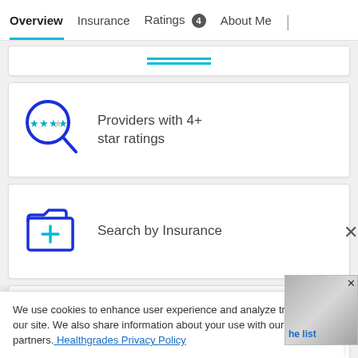Overview  Insurance  Ratings 4  About Me
[Figure (illustration): Partial card with teal double-line decoration visible at top]
[Figure (illustration): Blue magnifying glass icon with stars inside (4+ star ratings)]
Providers with 4+ star ratings
[Figure (illustration): Blue folder icon with teal medical cross inside]
Search by Insurance
[Figure (illustration): Blue person/chiropractor icon with teal medical cross below]
View all Chiropractic
We use cookies to enhance user experience and analyze traffic on our site. We also share information about your use with our site partners. Healthgrades Privacy Policy